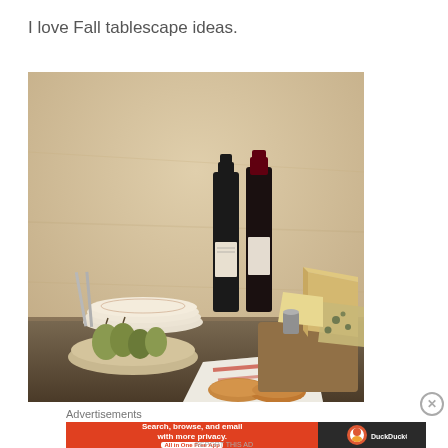I love Fall tablescape ideas.
[Figure (photo): A table scene with two dark wine bottles, assorted cheeses on a wooden board, stacked decorative plates, a bowl of green figs/pears, bread rolls wrapped in a white cloth with red stripe, against a beige/tan textured wall background.]
Advertisements
[Figure (screenshot): DuckDuckGo advertisement banner: orange/red background with text 'Search, browse, and email with more privacy. All in One Free App' and DuckDuckGo logo on dark right side.]